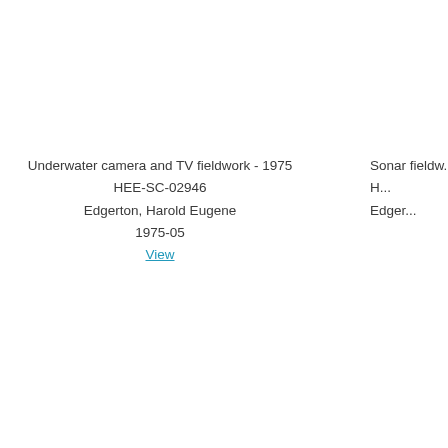Underwater camera and TV fieldwork - 1975
HEE-SC-02946
Edgerton, Harold Eugene
1975-05
View
Sonar fieldw...
H...
Edge...